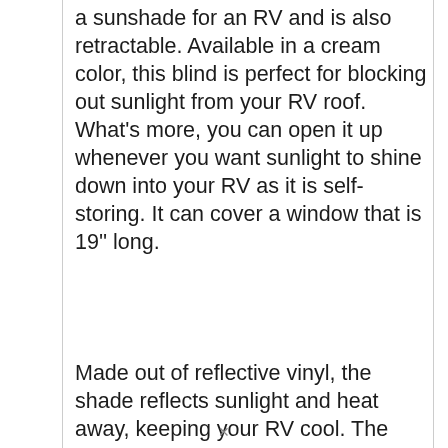a sunshade for an RV and is also retractable. Available in a cream color, this blind is perfect for blocking out sunlight from your RV roof. What's more, you can open it up whenever you want sunlight to shine down into your RV as it is self-storing. It can cover a window that is 19'' long.
Made out of reflective vinyl, the shade reflects sunlight and heat away, keeping your RV cool. The shade is vented on one side and designed to be
[Figure (infographic): Advertisement banner with dark forest background. Text reads: 'Just $2 can protect 1 acre of irreplaceable forest homes in the Amazon. How many acres are you willing to protect?' with a green 'PROTECT FORESTS NOW' button. Small animal image on the left.]